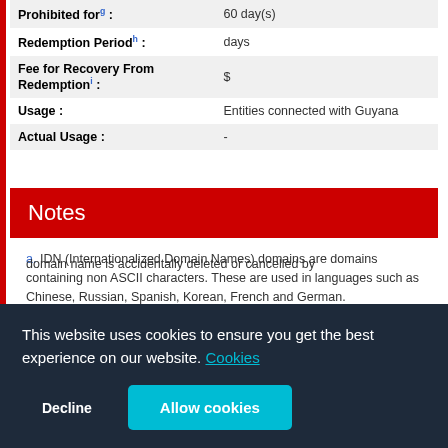| Field | Value |
| --- | --- |
| Prohibited for g : | 60 day(s) |
| Redemption Period h : | days |
| Fee for Recovery From Redemption i : | $ |
| Usage : | Entities connected with Guyana |
| Actual Usage : | - |
Notes
a. IDN (Internationalized Domain Names) domains are domains containing non ASCII characters. These are used in languages such as Chinese, Russian, Spanish, Korean, French and German.
b. Delete Protection, an extra service provided by us...
This website uses cookies to ensure you get the best experience on our website. Cookies
Decline  Allow cookies
domain name is accidentally deleted or cancelled by